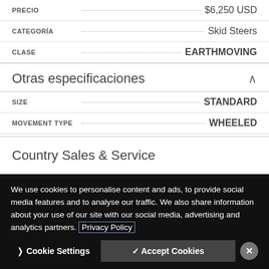| Field | Value |
| --- | --- |
| PRECIO | $6,250 USD |
| CATEGORÍA | Skid Steers |
| CLASE | EARTHMOVING |
Otras especificaciones
| Field | Value |
| --- | --- |
| SIZE | STANDARD |
| MOVEMENT TYPE | WHEELED |
Country Sales & Service
We use cookies to personalise content and ads, to provide social media features and to analyse our traffic. We also share information about your use of our site with our social media, advertising and analytics partners. Privacy Policy
Cookie Settings | Accept Cookies